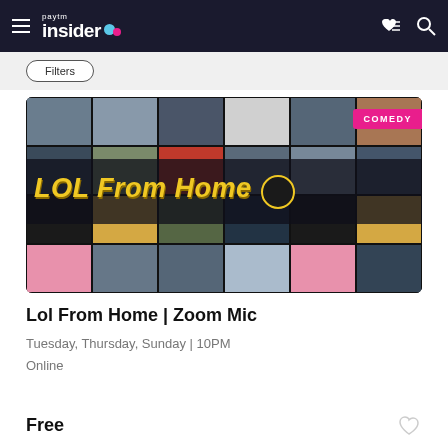Paytm Insider
[Figure (photo): Promotional image for 'LOL From Home' comedy show - a mosaic of comedian headshots in a grid layout with a dark overlay banner showing 'LOL From Home' in yellow italic text. A pink 'COMEDY' badge is visible in the top-right corner.]
Lol From Home | Zoom Mic
Tuesday, Thursday, Sunday | 10PM
Online
Free